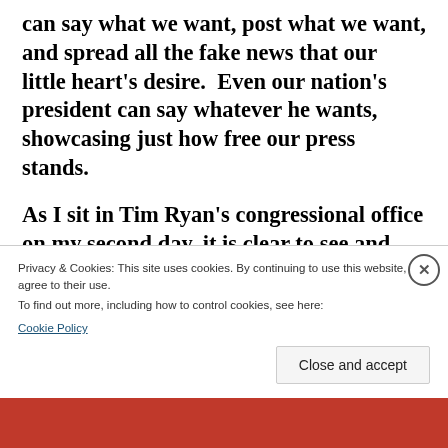can say what we want, post what we want, and spread all the fake news that our little heart's desire.  Even our nation's president can say whatever he wants, showcasing just how free our press stands.
As I sit in Tim Ryan's congressional office on my second day, it is clear to see and hear the frustration around me with the Trump presidency. Some of the calls to the office that I
Privacy & Cookies: This site uses cookies. By continuing to use this website, you agree to their use.
To find out more, including how to control cookies, see here:
Cookie Policy
Close and accept